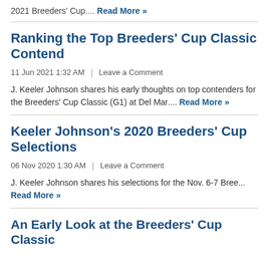2021 Breeders' Cup.... Read More »
Ranking the Top Breeders' Cup Classic Contende…
11 Jun 2021 1:32 AM  |  Leave a Comment
J. Keeler Johnson shares his early thoughts on top contenders for the Breeders' Cup Classic (G1) at Del Mar.... Read More »
Keeler Johnson's 2020 Breeders' Cup Selections…
06 Nov 2020 1:30 AM  |  Leave a Comment
J. Keeler Johnson shares his selections for the Nov. 6-7 Bree… Read More »
An Early Look at the Breeders' Cup Classic…